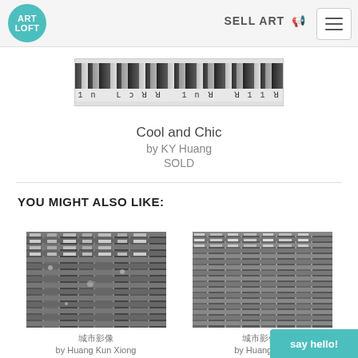[Figure (logo): Art Loft circular teal logo]
SELL ART
[Figure (photo): Cropped artwork image Cool and Chic by KY Huang showing black and white stripes with text]
Cool and Chic
by KY Huang
SOLD
YOU MIGHT ALSO LIKE:
[Figure (photo): Black and white photo of building facade - 城市影像 by Huang Kun Xiong]
城市影像
by Huang Kun Xiong
[Figure (photo): Black and white photo of building facade 2 - 城市影像2 by Huang Kun]
城市影像2
by Huang Kun